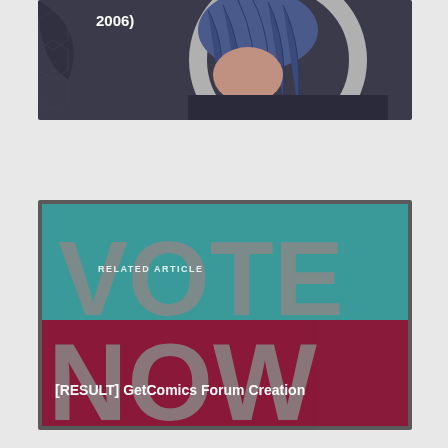[Figure (photo): Partial comic book cover showing a character with blue hair and dark costume, circular logo element visible. Text '2006)' visible in top-left corner.]
[Figure (photo): Vote Now promotional image with teal background displaying large 'VOTE' text and dark red/maroon background displaying large 'NOW' text in bold gray letters. Overlaid UI elements include 'RELATED ARTICLE' label and 'OTHER COMICS' pill button.]
[RESULT] GetComics Forum Creation